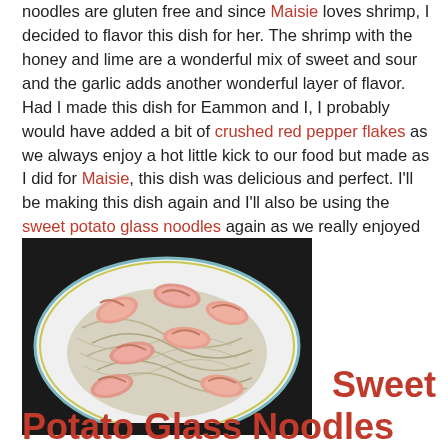noodles are gluten free and since Maisie loves shrimp, I decided to flavor this dish for her.  The shrimp with the honey and lime are a wonderful mix of sweet and sour and the garlic adds another wonderful layer of flavor.  Had I made this dish for Eammon and I, I probably would have added a bit of crushed red pepper flakes as we always enjoy a hot little kick to our food but made as I did for Maisie, this dish was delicious and perfect.  I'll be making this dish again and I'll also be using the sweet potato glass noodles again as we really enjoyed them.
[Figure (photo): A white bowl with blue and green rim containing glass noodles topped with cooked shrimp, photographed on a dark background.]
Sweet Potato Glass Noodles with Honey Garlic Lime Shrimp